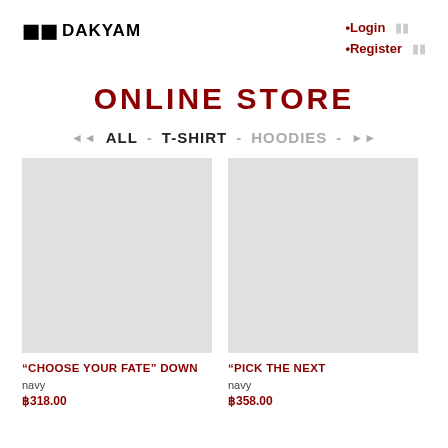M DAKYAM
•Login
•Register
ONLINE STORE
◄◄  ALL - T-SHIRT - HOODIES - ►►
[Figure (photo): Product image placeholder – "CHOOSE YOUR FATE" DOWN jacket]
"CHOOSE YOUR FATE" DOWN
navy
฿318.00
[Figure (photo): Product image placeholder – "PICK THE NEXT" item]
"PICK THE NEXT
navy
฿358.00